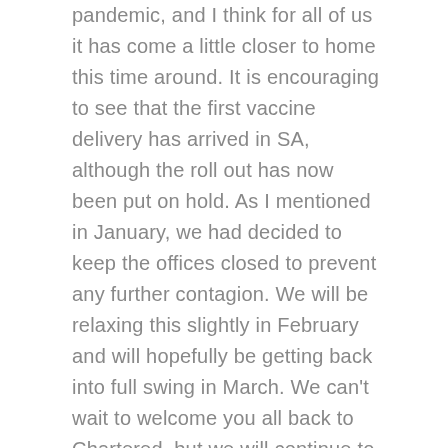pandemic, and I think for all of us it has come a little closer to home this time around. It is encouraging to see that the first vaccine delivery has arrived in SA, although the roll out has now been put on hold. As I mentioned in January, we had decided to keep the offices closed to prevent any further contagion. We will be relaxing this slightly in February and will hopefully be getting back into full swing in March. We can't wait to welcome you all back to Chartered, but we will continue to be cautious and only recommend that clients come in where necessary, such as for the signing of documentation.
The good news from January was the significant upswing in the markets. The All-Share index finished 5.2% up for the month, which was primarily due to Naspers growing 15.2%. In the last quarter of 2020, we saw the best quarterly return in emerging markets in